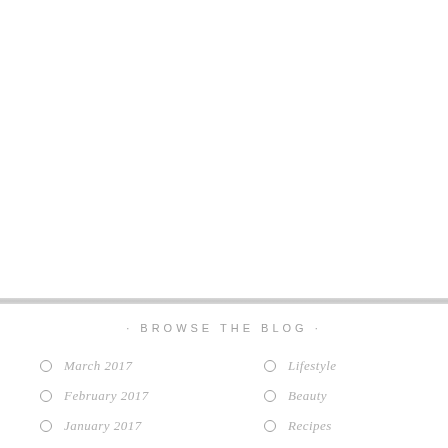[Figure (photo): Large blank/white image area occupying the top portion of the page]
· BROWSE THE BLOG ·
March 2017
February 2017
January 2017
Lifestyle
Beauty
Recipes